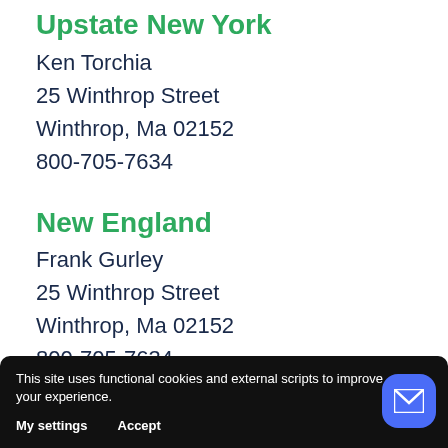Upstate New York
Ken Torchia
25 Winthrop Street
Winthrop, Ma 02152
800-705-7634
New England
Frank Gurley
25 Winthrop Street
Winthrop, Ma 02152
800-705-7634
Lower New York
This site uses functional cookies and external scripts to improve your experience.
My settings   Accept